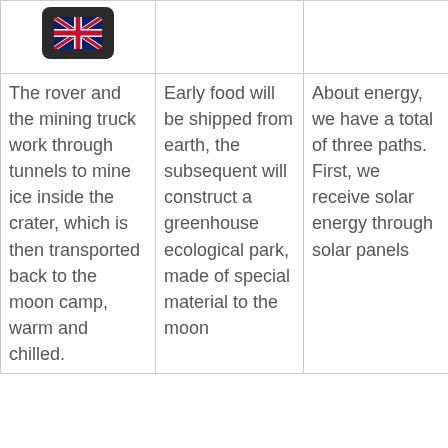| [UK flag icon] | [Column 2 header - partially visible] | [Column 3 header - partially visible] | [Column 4 header - partially visible] |
| --- | --- | --- | --- |
| The rover and the mining truck work through tunnels to mine ice inside the crater, which is then transported back to the moon camp, warm and chilled. | Early food will be shipped from earth, the subsequent will construct a greenhouse ecological park, made of special material to the moon | About energy, we have a total of three paths. First, we receive solar energy through solar panels | Initially, oxygen is produced mainly through water electrolysis and stored in high-pressure oxygen cylinders. |